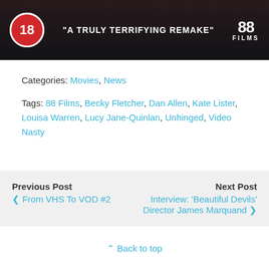[Figure (photo): Movie banner with dark background showing a dark figure, an 18 rating badge (red circle), the tagline 'A TRULY TERRIFYING REMAKE' in white text, and an 88 Films logo on the right]
Categories: Movies, News
Tags: 88 Films, Becky Fletcher, Dan Allen, Kate Lister, Louisa Warren, Lucy Jane-Quinlan, Unhinged, Video Nasty
Previous Post
‹ From VHS To VOD #2
Next Post
Interview: 'Beautiful Devils' Director James Marquand ›
⇧ Back to top